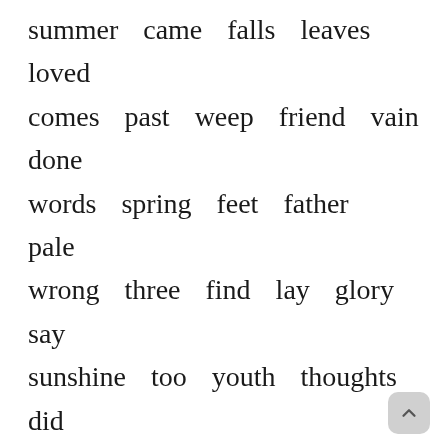summer came falls leaves loved comes past weep friend vain done words spring feet father pale wrong three find lay glory say sunshine too youth thoughts did twas gone dim grave think ere woe such grief blast woods fled over scorn born lost hurrah made merrily beauty whose clear tears knew ray rest none till right shade head home